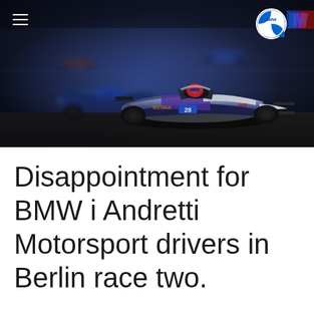[Figure (photo): Formula E race cars on a dark circuit track. A BMW i Andretti Motorsport car (number 28, white and blue livery) leads in the foreground, with other cars visible behind. The track appears to be the Berlin ePrix. BMW and BMW M logos visible in top right corner, hamburger menu icon in top left.]
Disappointment for BMW i Andretti Motorsport drivers in Berlin race two.